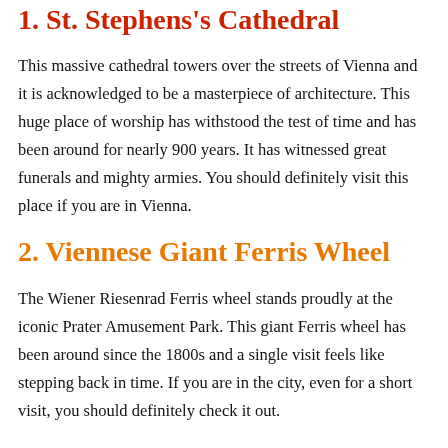1. St. Stephen's Cathedral
This massive cathedral towers over the streets of Vienna and it is acknowledged to be a masterpiece of architecture. This huge place of worship has withstood the test of time and has been around for nearly 900 years. It has witnessed great funerals and mighty armies. You should definitely visit this place if you are in Vienna.
2. Viennese Giant Ferris Wheel
The Wiener Riesenrad Ferris wheel stands proudly at the iconic Prater Amusement Park. This giant Ferris wheel has been around since the 1800s and a single visit feels like stepping back in time. If you are in the city, even for a short visit, you should definitely check it out.